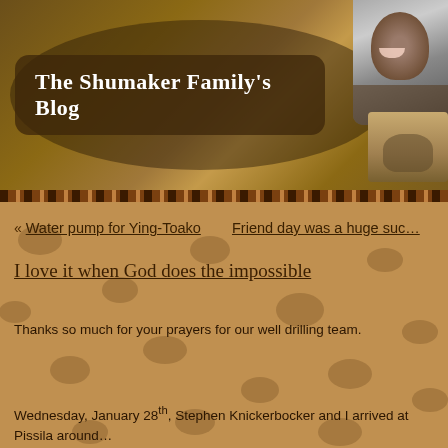[Figure (photo): Blog header with African-themed background featuring thatched huts, a portrait of a smiling woman, and an elephant photo in top-right corner]
The Shumaker Family's Blog
« Water pump for Ying-Toako    Friend day was a huge suc…
I love it when God does the impossible
Thanks so much for your prayers for our well drilling team.
Wednesday, January 28th, Stephen Knickerbocker and I arrived at Pissila around…